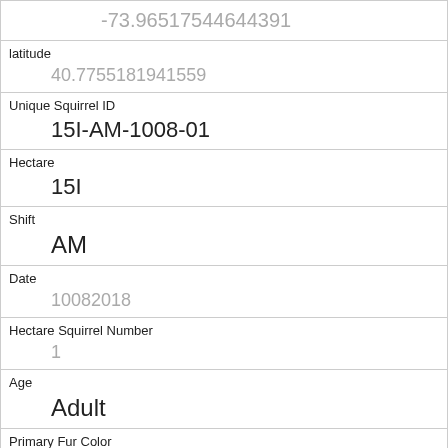| -73.96517544644391 |
| latitude | 40.7755181941559 |
| Unique Squirrel ID | 15I-AM-1008-01 |
| Hectare | 15I |
| Shift | AM |
| Date | 10082018 |
| Hectare Squirrel Number | 1 |
| Age | Adult |
| Primary Fur Color | Gray |
| Highlight Fur Color | Cinnamon |
| Combination of Primary and Highlight Color |